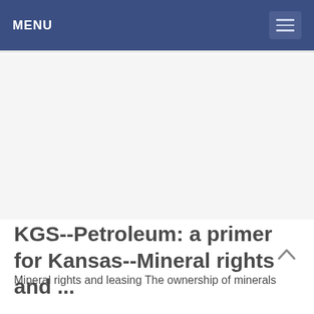MENU
[Figure (other): Advertisement or placeholder image area (blank/gray region)]
KGS--Petroleum: a primer for Kansas--Mineral rights and ...
Mineral rights and leasing The ownership of minerals